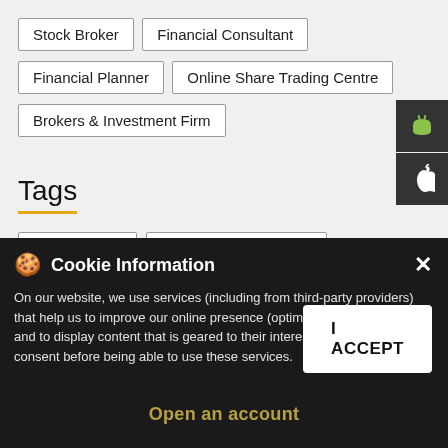Stock Broker
Financial Consultant
Financial Planner
Online Share Trading Centre
Brokers & Investment Firm
Tags
Motilal Oswal
Motilal Oswal Near me
Motilal Oswal mutual fund office near me
Best stock broker near me
Mutual funds
IPO investment
Equity trading
Online share trading
BSE sensex
Portfolio management services
Investment
Cookie Information
On our website, we use services (including from third-party providers) that help us to improve our online presence (optimization of website) and to display content that is geared to their interests. We need your consent before being able to use these services.
I ACCEPT
Open an account